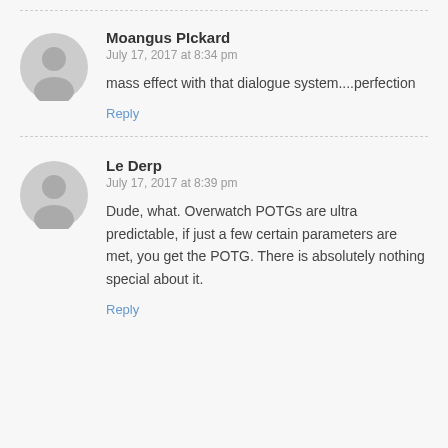[Figure (illustration): Gray circular user avatar icon for Moangus PIckard]
Moangus PIckard
July 17, 2017 at 8:34 pm
mass effect with that dialogue system....perfection
Reply
[Figure (illustration): Gray circular user avatar icon for Le Derp]
Le Derp
July 17, 2017 at 8:39 pm
Dude, what. Overwatch POTGs are ultra predictable, if just a few certain parameters are met, you get the POTG. There is absolutely nothing special about it.
Reply